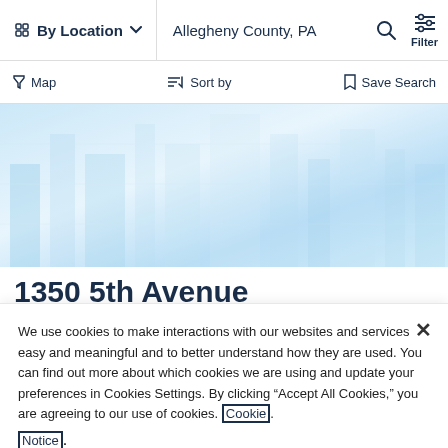By Location   Allegheny County, PA   Filter
Map   Sort by   Save Search
[Figure (screenshot): Blurred light-blue background showing a real estate listing website with building/chart-like visuals]
1350 5th Avenue
We use cookies to make interactions with our websites and services easy and meaningful and to better understand how they are used. You can find out more about which cookies we are using and update your preferences in Cookies Settings. By clicking “Accept All Cookies,” you are agreeing to our use of cookies. Cookie Notice.
Cookies Settings
Accept All Cookies